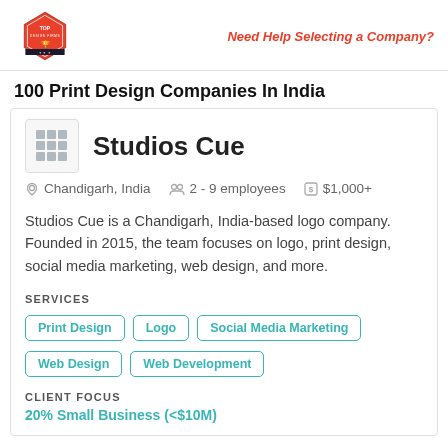Top Design Firms logo | Need Help Selecting a Company?
100 Print Design Companies In India
Studios Cue
Chandigarh, India   2 - 9 employees   $1,000+
Studios Cue is a Chandigarh, India-based logo company. Founded in 2015, the team focuses on logo, print design, social media marketing, web design, and more.
SERVICES
Print Design
Logo
Social Media Marketing
Web Design
Web Development
CLIENT FOCUS
20% Small Business (<$10M)